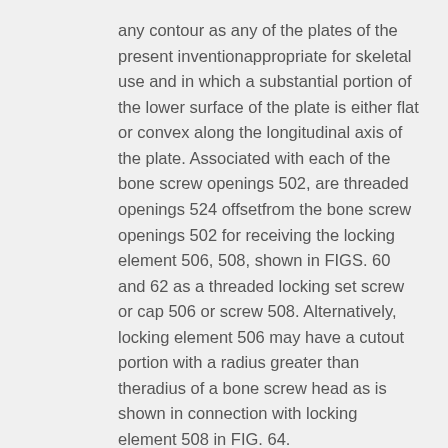any contour as any of the plates of the present inventionappropriate for skeletal use and in which a substantial portion of the lower surface of the plate is either flat or convex along the longitudinal axis of the plate. Associated with each of the bone screw openings 502, are threaded openings 524 offsetfrom the bone screw openings 502 for receiving the locking element 506, 508, shown in FIGS. 60 and 62 as a threaded locking set screw or cap 506 or screw 508. Alternatively, locking element 506 may have a cutout portion with a radius greater than theradius of a bone screw head as is shown in connection with locking element 508 in FIG. 64.
It is appreciated that other configurations of single locking plates may be employed.